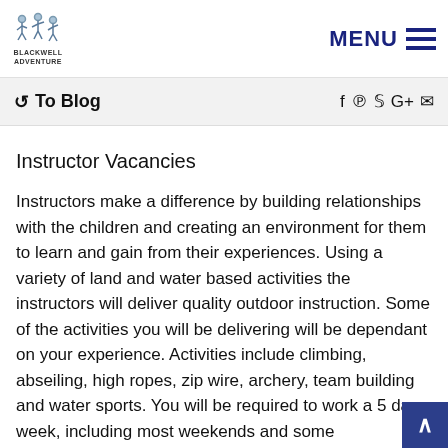[Figure (logo): Blackwell Adventure logo with stick figure icon and text 'BLACKWELL ADVENTURE']
MENU
← To Blog  f ℗ ✓ G+ ✉
Instructor Vacancies
Instructors make a difference by building relationships with the children and creating an environment for them to learn and gain from their experiences. Using a variety of land and water based activities the instructors will deliver quality outdoor instruction. Some of the activities you will be delivering will be dependant on your experience. Activities include climbing, abseiling, high ropes, zip wire, archery, team building and water sports. You will be required to work a 5 day week, including most weekends and some